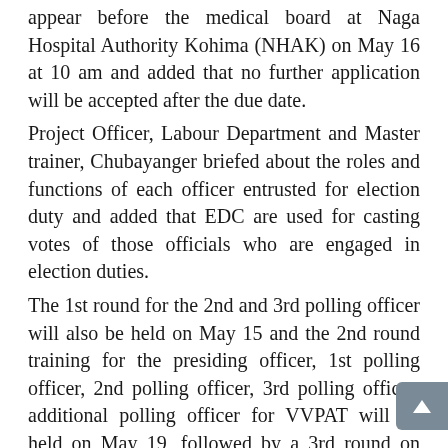appear before the medical board at Naga Hospital Authority Kohima (NHAK) on May 16 at 10 am and added that no further application will be accepted after the due date.
Project Officer, Labour Department and Master trainer, Chubayanger briefed about the roles and functions of each officer entrusted for election duty and added that EDC are used for casting votes of those officials who are engaged in election duties.
The 1st round for the 2nd and 3rd polling officer will also be held on May 15 and the 2nd round training for the presiding officer, 1st polling officer, 2nd polling officer, 3rd polling officer, additional polling officer for VVPAT will be held on May 19, followed by a 3rd round on May 22 for presiding officer, 1st polling officer, additional polling officer for VVPAT and 2nd polling and 3rd polling officer on May 23 at the same venue respectively.
Requisitioned vehicles
The DC & Assistant Returning Officer Kohima, Rajesh